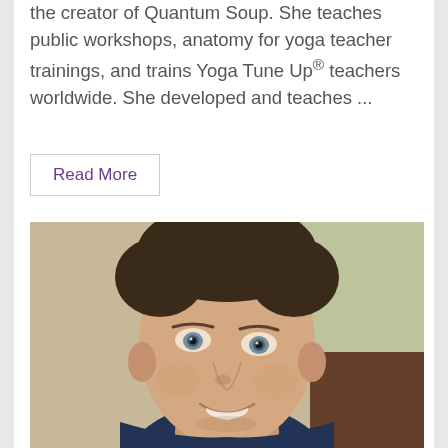the creator of Quantum Soup. She teaches public workshops, anatomy for yoga teacher trainings, and trains Yoga Tune Up® teachers worldwide. She developed and teaches ...
Read More
[Figure (photo): Professional headshot of a middle-aged man with short dark hair, blue-grey eyes, and a warm smile, wearing a dark blue shirt, photographed against a blurred background.]